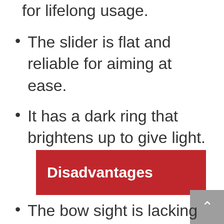for lifelong usage.
The slider is flat and reliable for aiming at ease.
It has a dark ring that brightens up to give light.
Disadvantages
The bow sight is lacking in quality.